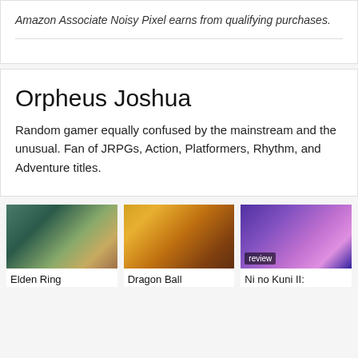Amazon Associate Noisy Pixel earns from qualifying purchases.
Orpheus Joshua
Random gamer equally confused by the mainstream and the unusual. Fan of JRPGs, Action, Platformers, Rhythm, and Adventure titles.
[Figure (photo): Elden Ring game screenshot showing combat scene]
[Figure (photo): Dragon Ball game screenshot showing animated character]
[Figure (photo): Ni no Kuni II game screenshot with review badge]
Elden Ring
Dragon Ball
Ni no Kuni II: